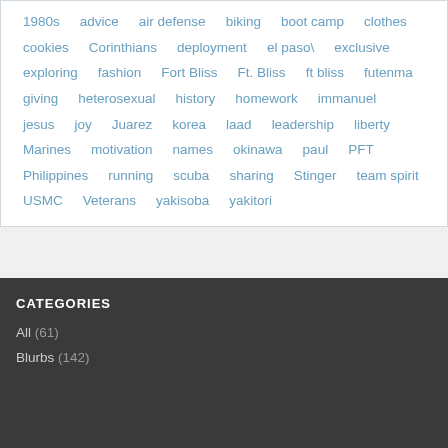1980s, advice, air defense, biking, boot camp, clothes, cookies, Corinthians, deployment, el paso\, exclusive, exploring, fashion, Fort Bliss, Ft. Bliss, ft bliss, futenma, giving, heterosexual, history, homework, immanuel, jesus, joy, Juarez, korea, laad, leadership, liberty, Marines, motivation, names, okinawa, paul, PFT, Philippines, running, scuba, sharing, Stinger, team spirit, USMC, Veterans, yakisoba, yakitori
CATEGORIES
All (61)
Blurbs (142)